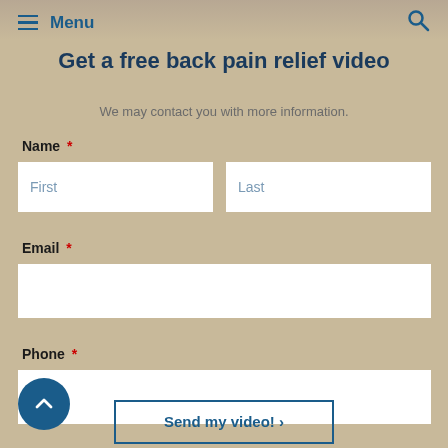Menu
Get a free back pain relief video
We may contact you with more information.
Name *
First
Last
Email *
Phone *
Send my video! ›